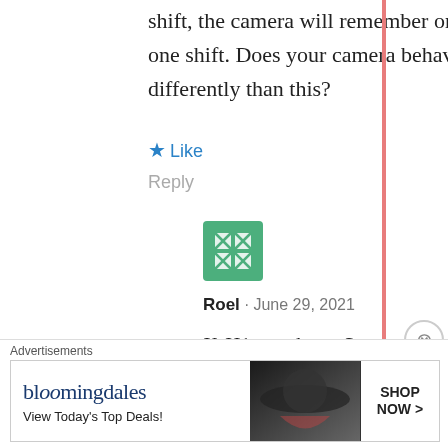shift, the camera will remember only one shift. Does your camera behave differently than this?
Like
Reply
[Figure (illustration): Green avatar icon with X-pattern symbol]
Roel · June 29, 2021
X-H1 user here. Same problem. I had customized 7 C-settings but cannot/don't know how to go use the original – let's say – Provia simulation.
Advertisements
[Figure (illustration): Bloomingdale's advertisement banner: 'bloomingdales View Today's Top Deals!' with woman in hat and SHOP NOW > button]